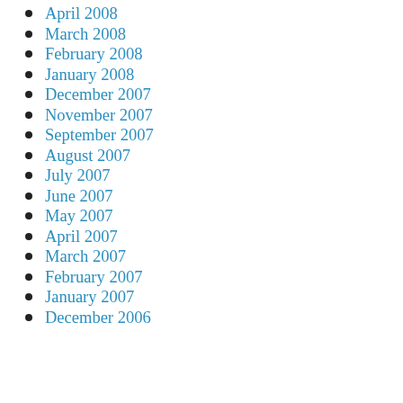April 2008
March 2008
February 2008
January 2008
December 2007
November 2007
September 2007
August 2007
July 2007
June 2007
May 2007
April 2007
March 2007
February 2007
January 2007
December 2006